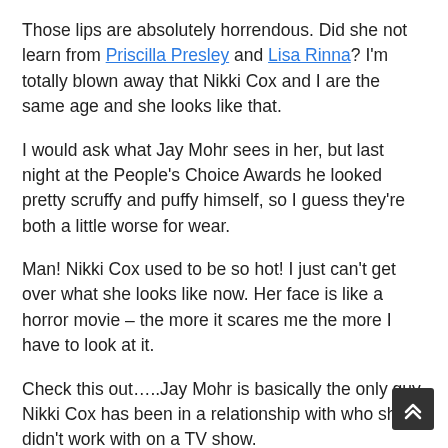Those lips are absolutely horrendous. Did she not learn from Priscilla Presley and Lisa Rinna? I'm totally blown away that Nikki Cox and I are the same age and she looks like that.
I would ask what Jay Mohr sees in her, but last night at the People's Choice Awards he looked pretty scruffy and puffy himself, so I guess they're both a little worse for wear.
Man! Nikki Cox used to be so hot! I just can't get over what she looks like now. Her face is like a horror movie – the more it scares me the more I have to look at it.
Check this out…..Jay Mohr is basically the only guy Nikki Cox has been in a relationship with who she didn't work with on a TV show.